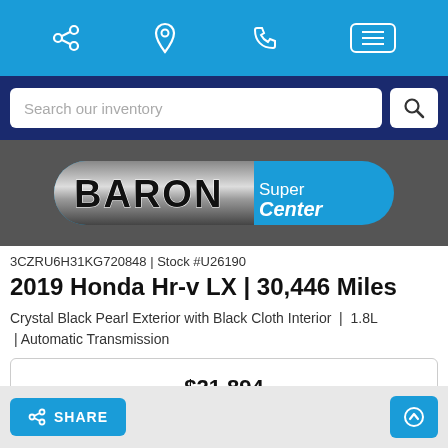Navigation bar with share, location, phone, and menu icons
Search our inventory
[Figure (logo): Baron SuperCenter dealership logo on dark gray background — BARON in chrome metallic text with SuperCenter in white on blue rounded rectangle]
3CZRU6H31KG720848 | Stock #U26190
2019 Honda Hr-v LX | 30,446 Miles
Crystal Black Pearl Exterior with Black Cloth Interior  |  1.8L  | Automatic Transmission
$21,894
SHARE